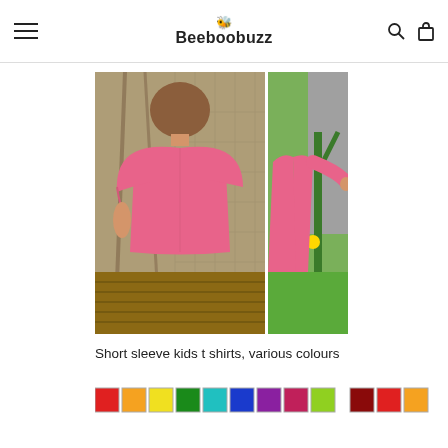Beeboobuzz
[Figure (photo): Back view of a child wearing a bright pink short sleeve t-shirt, standing outdoors near a rope swing]
[Figure (photo): Partial view of a child in a pink long sleeve top in a garden setting]
Short sleeve kids t shirts, various colours
[Figure (infographic): Color swatches showing various available colours: red, orange, yellow, green, teal, blue, purple, dark pink/maroon, lime green, dark red, red]